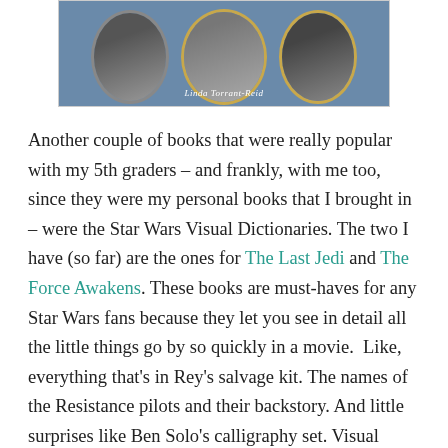[Figure (photo): Book cover image showing three oval portrait photos (black and white) on a blue background with decorative gold/silver frames. An author name 'Linda Torrant-Reid' appears at the bottom of the image in white italic text.]
Another couple of books that were really popular with my 5th graders – and frankly, with me too, since they were my personal books that I brought in – were the Star Wars Visual Dictionaries. The two I have (so far) are the ones for The Last Jedi and The Force Awakens. These books are must-haves for any Star Wars fans because they let you see in detail all the little things go by so quickly in a movie.  Like, everything that's in Rey's salvage kit. The names of the Resistance pilots and their backstory. And little surprises like Ben Solo's calligraphy set. Visual Dictionaries are really fun to explore and